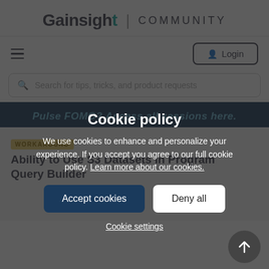Gainsight | COMMUNITY
[Figure (screenshot): Navigation bar with hamburger menu on left and Login button on right]
[Figure (screenshot): Search bar with placeholder text: Search for tips, tricks, and product requests]
Pulse FOMO? Access all sessions here.
Cookie policy
We use cookies to enhance and personalize your experience. If you accept you agree to our full cookie policy. Learn more about our cookies.
Accept cookies
Deny all
Cookie settings
WORKAROUND
Ability to Use S3 Datasets in Program Query Builder